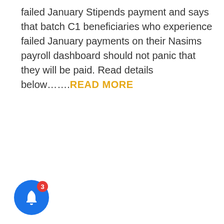failed January Stipends payment and says that batch C1 beneficiaries who experience failed January payments on their Nasims payroll dashboard should not panic that they will be paid. Read details below……..READ MORE
[Figure (infographic): Blue circular notification bell icon with a red badge showing the number 3]